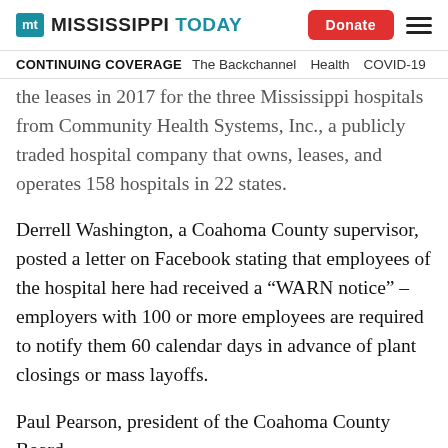Mississippi Today | Donate | Menu
CONTINUING COVERAGE   The Backchannel   Health   COVID-19
the leases in 2017 for the three Mississippi hospitals from Community Health Systems, Inc., a publicly traded hospital company that owns, leases, and operates 158 hospitals in 22 states.
Derrell Washington, a Coahoma County supervisor, posted a letter on Facebook stating that employees of the hospital here had received a “WARN notice” – employers with 100 or more employees are required to notify them 60 calendar days in advance of plant closings or mass layoffs.
Paul Pearson, president of the Coahoma County Board